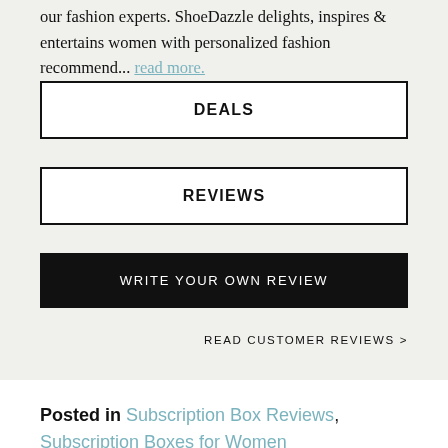our fashion experts. ShoeDazzle delights, inspires & entertains women with personalized fashion recommend... read more.
DEALS
REVIEWS
WRITE YOUR OWN REVIEW
READ CUSTOMER REVIEWS >
Posted in Subscription Box Reviews, Subscription Boxes for Women